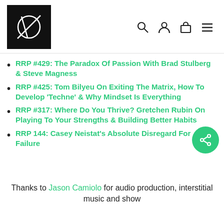[Figure (logo): Black square logo with white geometric symbol (circle with lines through it) and navigation icons: search, user, cart, menu]
RRP #429: The Paradox Of Passion With Brad Stulberg & Steve Magness
RRP #425: Tom Bilyeu On Exiting The Matrix, How To Develop 'Techne' & Why Mindset Is Everything
RRP #317: Where Do You Thrive? Gretchen Rubin On Playing To Your Strengths & Building Better Habits
RRP 144: Casey Neistat's Absolute Disregard For Failure
Thanks to Jason Camiolo for audio production, interstitial music and show